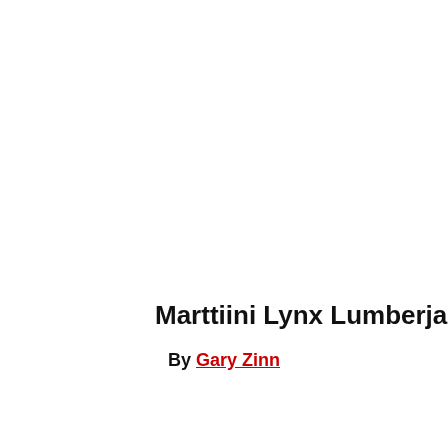Marttiini Lynx Lumberjack Knife
By Gary Zinn